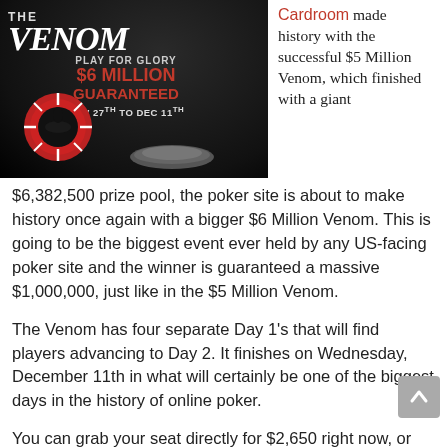[Figure (illustration): The Venom poker tournament promotional banner: dark background with 'THE VENOM' logo on the left, 'PLAY FOR GLORY $6 MILLION GUARANTEED NOV 27TH TO DEC 11TH' text on the right, and poker chips in the foreground.]
Cardroom made history with the successful $5 Million Venom, which finished with a giant $6,382,500 prize pool, the poker site is about to make history once again with a bigger $6 Million Venom. This is going to be the biggest event ever held by any US-facing poker site and the winner is guaranteed a massive $1,000,000, just like in the $5 Million Venom.
The Venom has four separate Day 1's that will find players advancing to Day 2. It finishes on Wednesday, December 11th in what will certainly be one of the biggest days in the history of online poker.
You can grab your seat directly for $2,650 right now, or